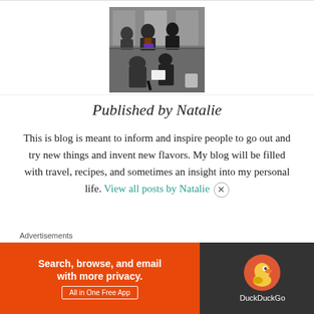[Figure (photo): Photo of people in what appears to be a transit or public space, seen in a mirror or through glass]
Published by Natalie
This is blog is meant to inform and inspire people to go out and try new things and invent new flavors. My blog will be filled with travel, recipes, and sometimes an insight into my personal life. View all posts by Natalie
Advertisements
[Figure (screenshot): DuckDuckGo advertisement banner: Search, browse, and email with more privacy. All in One Free App]